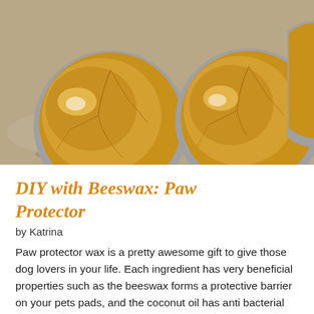[Figure (photo): Top-down view of two silver tins containing golden beeswax paw protector balm with a cracked surface texture, sitting on a light stone surface.]
DIY with Beeswax: Paw Protector
by Katrina
Paw protector wax is a pretty awesome gift to give those dog lovers in your life. Each ingredient has very beneficial properties such as the beeswax forms a protective barrier on your pets pads, and the coconut oil has anti bacterial properties. The Calendula oil